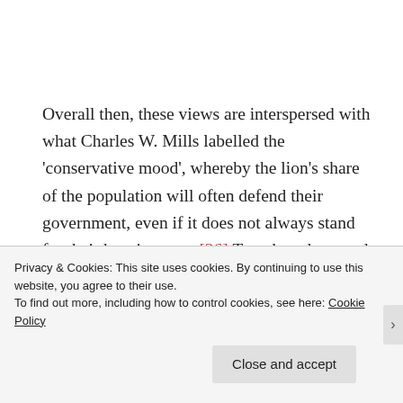Overall then, these views are interspersed with what Charles W. Mills labelled the 'conservative mood', whereby the lion's share of the population will often defend their government, even if it does not always stand for their best interests.[36] Together, the mood of sadness, anger, confusion and
Privacy & Cookies: This site uses cookies. By continuing to use this website, you agree to their use.
To find out more, including how to control cookies, see here: Cookie Policy